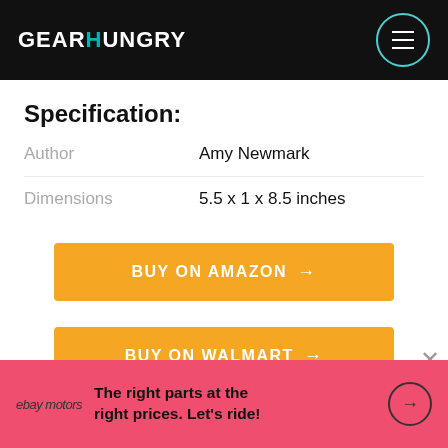GEARHUNGRY
Specification:
|  |  |
| --- | --- |
| Author | Amy Newmark |
| Dimensions | 5.5 x 1 x 8.5 inches |
BUY ON AMAZON →
BUY ON WALMART →
ebay motors   The right parts at the right prices. Let's ride!